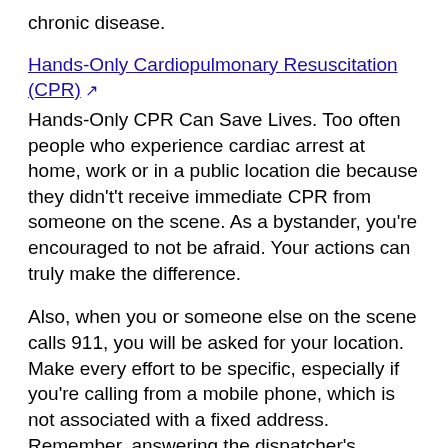chronic disease.
Hands-Only Cardiopulmonary Resuscitation (CPR)
Hands-Only CPR Can Save Lives. Too often people who experience cardiac arrest at home, work or in a public location die because they didn't't receive immediate CPR from someone on the scene. As a bystander, you're encouraged to not be afraid. Your actions can truly make the difference.
Also, when you or someone else on the scene calls 911, you will be asked for your location. Make every effort to be specific, especially if you're calling from a mobile phone, which is not associated with a fixed address. Remember, answering the dispatcher's questions in detail will not delay the arrival of help.
Commencing with the 2018–19 school year, Assembly Bill (AB) 1719 requires school districts and charter schools that have a health course graduation requirement for high school to provide instruction on performing compression